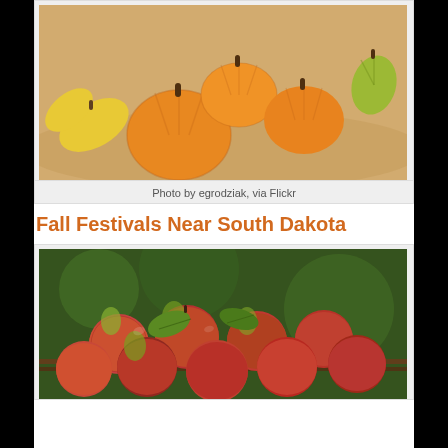[Figure (photo): Small orange pumpkins and yellow/green gourds arranged on a surface, fall harvest theme]
Photo by egrodziak, via Flickr
Fall Festivals Near South Dakota
[Figure (photo): Red and green apples with leaves piled in a wooden crate, fall harvest theme]